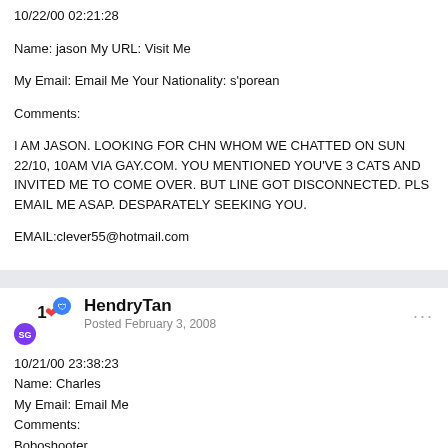10/22/00 02:21:28
Name: jason My URL: Visit Me
My Email: Email Me Your Nationality: s'porean
Comments:
I AM JASON. LOOKING FOR CHN WHOM WE CHATTED ON SUN 22/10, 10AM VIA GAY.COM. YOU MENTIONED YOU'VE 3 CATS AND INVITED ME TO COME OVER. BUT LINE GOT DISCONNECTED. PLS EMAIL ME ASAP. DESPARATELY SEEKING YOU.
EMAIL:clever55@hotmail.com
HendryTan
Posted February 3, 2008
10/21/00 23:38:23
Name: Charles
My Email: Email Me
Comments:
Boboshooter
Thanks for explaining boboshooter. Whew! I thought it meant when you come you shoot bo bo cha cha from your dick. :-)